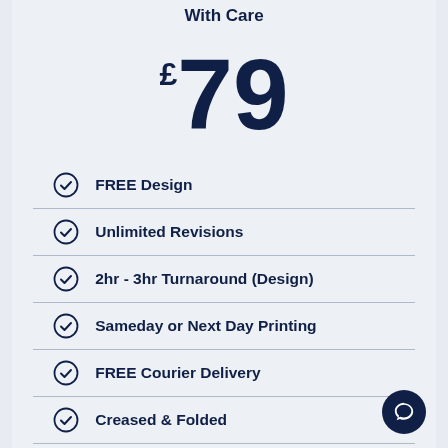With Care
£79
FREE Design
Unlimited Revisions
2hr - 3hr Turnaround (Design)
Sameday or Next Day Printing
FREE Courier Delivery
Creased & Folded